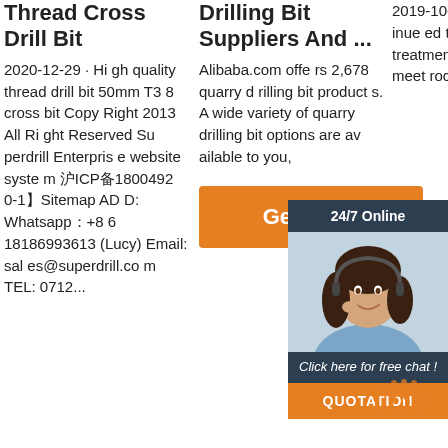Thread Cross Drill Bit
2020-12-29 · High quality thread drill bit 50mm T38 cross bit Copy Right 2013 All Right Reserved Superdrill Enterprise website system 沪ICP备18004920-1】Sitemap ADD: Whatsapp：+86 18186993613 (Lucy) Email: sales@superdrill.com TEL: 0712...
Drilling Bit Suppliers And ...
Alibaba.com offers 2,678 quarry drilling bit products. A wide variety of quarry drilling bit options are available to you,
[Figure (other): Orange 'Get Price' button]
2019-10-12 · Thread Button drill Bit This product has continued to achieve on adequate quality and bidder. Through heat treatment, our drilling tools are tough enough to meet rock drilling demands and be...
[Figure (other): 24/7 Online chat widget with female customer service representative, 'Click here for free chat!' text, QUOTATION button, and TOP logo]